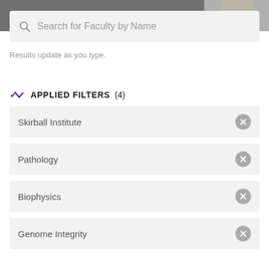[Figure (screenshot): Background photo of a person, partially visible at top of page]
Search for Faculty by Name
Results update as you type.
APPLIED FILTERS (4)
Skirball Institute
Pathology
Biophysics
Genome Integrity